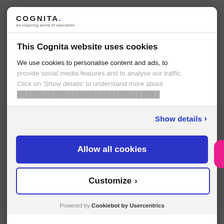[Figure (logo): Cognita logo with tagline 'An inspiring world of education']
This Cognita website uses cookies
We use cookies to personalise content and ads, to provide social media features and to analyse our traffic. Click on 'Show details' to understand more about
Show details
Allow all cookies
Customize
Powered by Cookiebot by Usercentrics